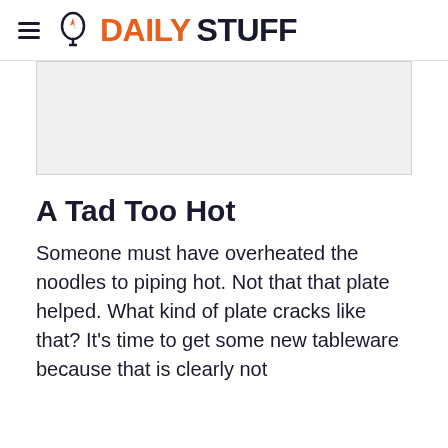DAILYSTUFF
[Figure (other): Advertisement placeholder box, light gray background]
A Tad Too Hot
Someone must have overheated the noodles to piping hot. Not that that plate helped. What kind of plate cracks like that? It's time to get some new tableware because that is clearly not